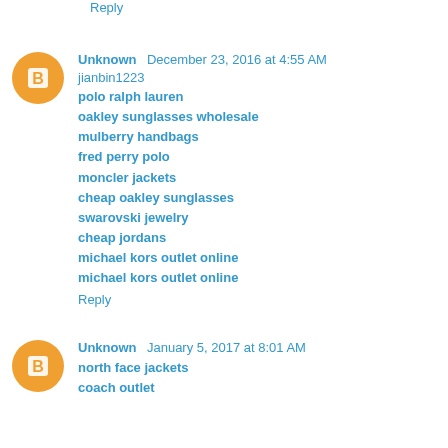Reply
Unknown December 23, 2016 at 4:55 AM
jianbin1223
polo ralph lauren
oakley sunglasses wholesale
mulberry handbags
fred perry polo
moncler jackets
cheap oakley sunglasses
swarovski jewelry
cheap jordans
michael kors outlet online
michael kors outlet online
Reply
Unknown January 5, 2017 at 8:01 AM
north face jackets
coach outlet